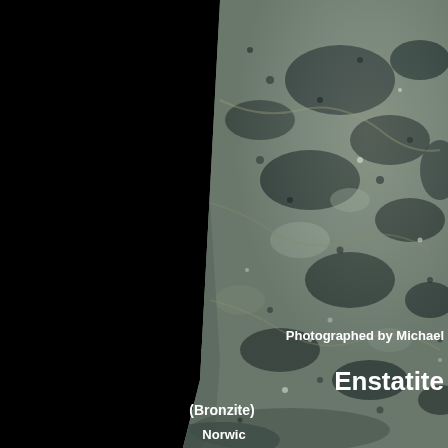[Figure (photo): Close-up photograph of an Enstatite (Bronzite) mineral specimen against a black background. The rock shows dark bluish-grey and greenish-grey coloration with a rough, crystalline texture. Only the lower-left portion of the specimen is visible, set against a completely black background.]
Photographed by Michael
Enstatite
(Bronzite)
Norwic